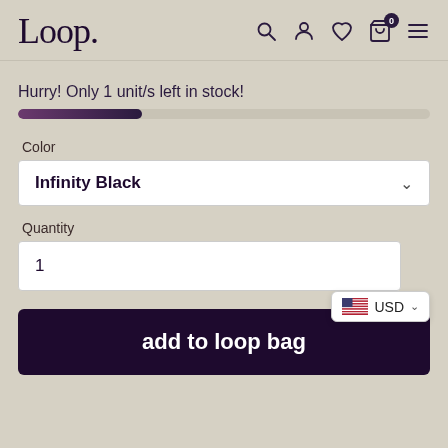Loop.
Hurry! Only 1 unit/s left in stock!
Color
Infinity Black
Quantity
1
add to loop bag
USD